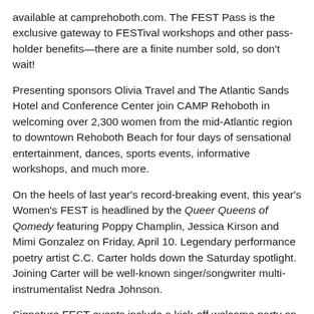available at camprehoboth.com. The FEST Pass is the exclusive gateway to FESTival workshops and other pass-holder benefits—there are a finite number sold, so don't wait!
Presenting sponsors Olivia Travel and The Atlantic Sands Hotel and Conference Center join CAMP Rehoboth in welcoming over 2,300 women from the mid-Atlantic region to downtown Rehoboth Beach for four days of sensational entertainment, dances, sports events, informative workshops, and much more.
On the heels of last year's record-breaking event, this year's Women's FEST is headlined by the Queer Queens of Qomedy featuring Poppy Champlin, Jessica Kirson and Mimi Gonzalez on Friday, April 10. Legendary performance poetry artist C.C. Carter holds down the Saturday spotlight. Joining Carter will be well-known singer/songwriter multi-instrumentalist Nedra Johnson.
Signature FEST events include a kick-off welcome party on Thursday, April 9 with Viki Dee and DJ Nan, featuring the launch celebration for Tagg Rehoboth magazine, who also sponsors the dance, and Sue Fortier Photography is providing a free photo booth for capturing